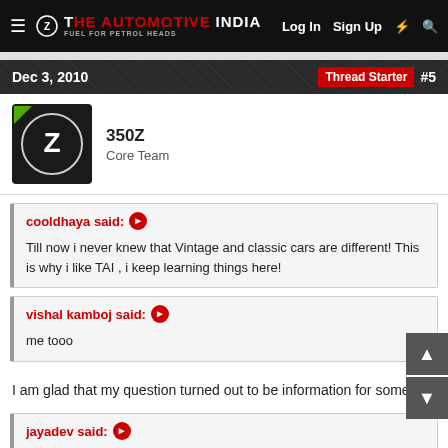THE AUTOMOTIVE INDIA | Log In  Sign Up  ⚡  🔍
Dec 3, 2010  Thread Starter  #5
350Z
Core Team
cooldhaya said: ➜
Till now i never knew that Vintage and classic cars are different! This is why i like TAI , i keep learning things here!
vishal kamboj said: ➜
me tooo
I am glad that my question turned out to be information for some.
jayadev said: ➜